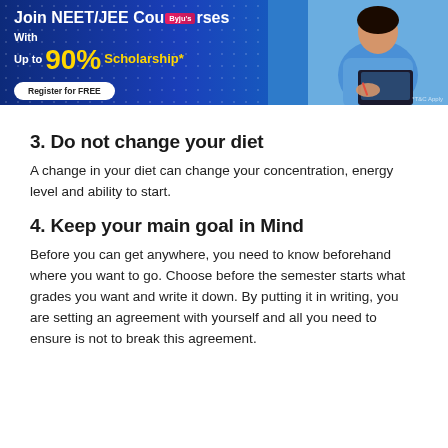[Figure (illustration): Advertisement banner for NEET/JEE Courses with up to 90% Scholarship. Blue background with a student writing. Register for FREE button. *T&C Apply note at bottom right.]
3. Do not change your diet
A change in your diet can change your concentration, energy level and ability to start.
4. Keep your main goal in Mind
Before you can get anywhere, you need to know beforehand where you want to go. Choose before the semester starts what grades you want and write it down. By putting it in writing, you are setting an agreement with yourself and all you need to ensure is not to break this agreement.